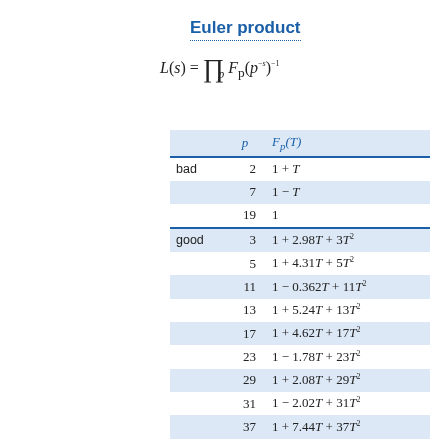Euler product
|  | p | F_p(T) |
| --- | --- | --- |
| bad | 2 | 1 + T |
|  | 7 | 1 − T |
|  | 19 | 1 |
| good | 3 | 1 + 2.98T + 3T² |
|  | 5 | 1 + 4.31T + 5T² |
|  | 11 | 1 − 0.362T + 11T² |
|  | 13 | 1 + 5.24T + 13T² |
|  | 17 | 1 + 4.62T + 17T² |
|  | 23 | 1 − 1.78T + 23T² |
|  | 29 | 1 + 2.08T + 29T² |
|  | 31 | 1 − 2.02T + 31T² |
|  | 37 | 1 + 7.44T + 37T² |